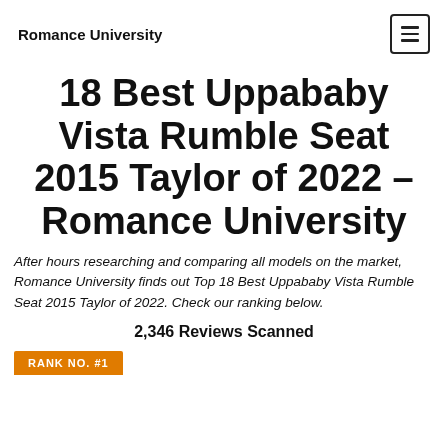Romance University
18 Best Uppababy Vista Rumble Seat 2015 Taylor of 2022 – Romance University
After hours researching and comparing all models on the market, Romance University finds out Top 18 Best Uppababy Vista Rumble Seat 2015 Taylor of 2022. Check our ranking below.
2,346 Reviews Scanned
RANK NO. #1